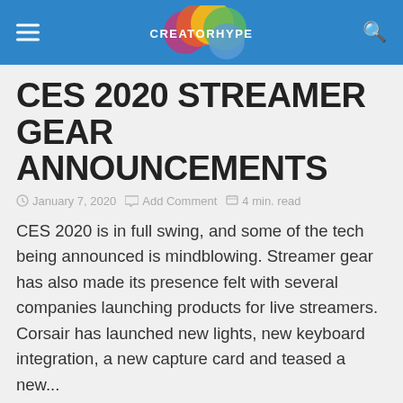CREATORHYPE
CES 2020 STREAMER GEAR ANNOUNCEMENTS
January 7, 2020   Add Comment   4 min. read
CES 2020 is in full swing, and some of the tech being announced is mindblowing. Streamer gear has also made its presence felt with several companies launching products for live streamers. Corsair has launched new lights, new keyboard integration, a new capture card and teased a new...
READ MORE